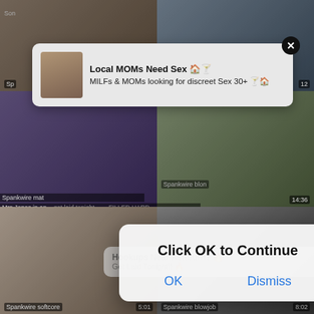[Figure (screenshot): Background of adult video thumbnail grid showing multiple video thumbnails with labels such as 'Spankwire softcore', 'Spankwire blowjob', timestamps '5:01', '8:02', '14:36', and text overlays 'Mrs Jones in an...' and '...FILLED HARD']
[Figure (screenshot): Notification popup 1: 'Local MOMs Need Sex' with subtext 'MILFs & MOMs looking for discreet Sex 30+' with close X button and avatar image]
[Figure (screenshot): Notification popup 2 (semi-transparent, behind dialog): 'Hookups Near Ashburn?' / 'Get Laid Tonight!!' with close X button]
[Figure (screenshot): Modal dialog overlay: 'Click OK to Continue' with OK and Dismiss buttons]